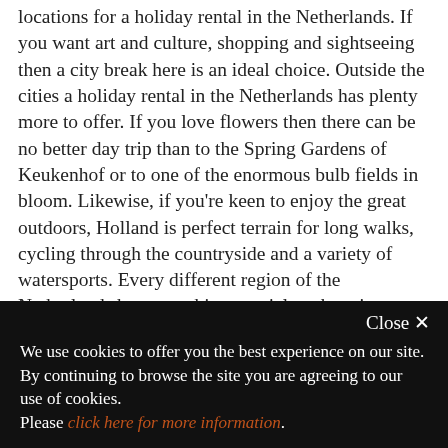locations for a holiday rental in the Netherlands. If you want art and culture, shopping and sightseeing then a city break here is an ideal choice. Outside the cities a holiday rental in the Netherlands has plenty more to offer. If you love flowers then there can be no better day trip than to the Spring Gardens of Keukenhof or to one of the enormous bulb fields in bloom. Likewise, if you're keen to enjoy the great outdoors, Holland is perfect terrain for long walks, cycling through the countryside and a variety of watersports. Every different region of the Netherlands has something special to show its visitors, from the castles of the Lower Rhine region
Close ✕
We use cookies to offer you the best experience on our site. By continuing to browse the site you are agreeing to our use of cookies. Please click here for more information.